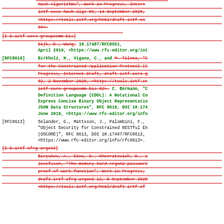[struck] Hash Algorithms", Work in Progress, Internet Draft, ietf cose hash algs 09, 14 September 2020, <https://tools.ietf.org/html/draft-ietf-cose-hash-algs-09>.
[struck] [I-D.ietf-core-groupcomm-bis] Dijk, E., Wang, [green] 10.17487/RFC8551, April 2019, <https://www.rfc-editor.org/info/...>
[RFC8610] [green] Birkholz, H., Vigano, C., and [struck] M. Tiloca... [green] Definition Language (CDDL): A Notational Convention to Express Concise Binary Object Representation and JSON Data Structures", RFC 8610, DOI 10.17487/... June 2019, <https://www.rfc-editor.org/info/...>
[RFC8613] Selander, G., Mattsson, J., Palombini, F., "Object Security for Constrained RESTful Environments (OSCORE)", RFC 8613, DOI 10.17487/RFC8613, <https://www.rfc-editor.org/info/rfc8613>.
[struck] [I-D.irtf-cfrg-argon2] Biryukov, A., Dinu, D., Khovratovich, D., Josefsson, "The memory hard Argon2 password proof of work function", Work in Progress, draft-irtf-cfrg-argon2-12, 8 September 2020, <https://tools.ietf.org/html/draft-irtf-...>